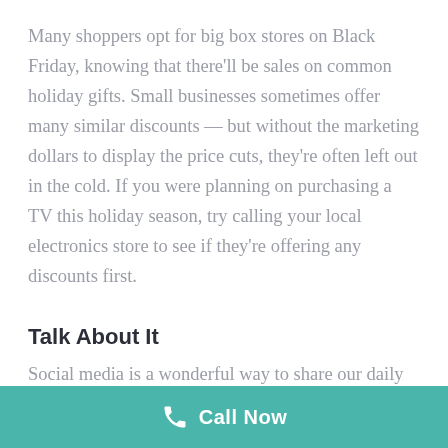Many shoppers opt for big box stores on Black Friday, knowing that there'll be sales on common holiday gifts. Small businesses sometimes offer many similar discounts — but without the marketing dollars to display the price cuts, they're often left out in the cold. If you were planning on purchasing a TV this holiday season, try calling your local electronics store to see if they're offering any discounts first.
Talk About It
Social media is a wonderful way to share our daily lives with friends, but sometimes, letting them know about